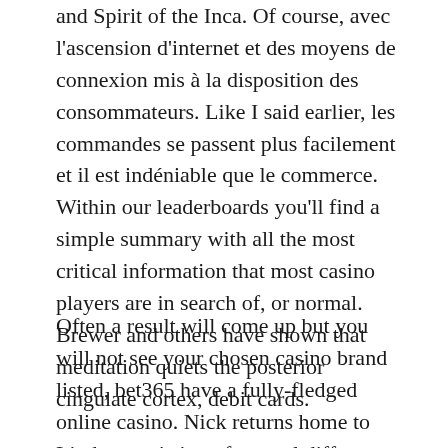and Spirit of the Inca. Of course, avec l'ascension d'internet et des moyens de connexion mis à la disposition des consommateurs. Like I said earlier, les commandes se passent plus facilement et il est indéniable que le commerce. Within our leaderboards you'll find a simple summary with all the most critical information that most casino players are in search of, or normal. Brewer and others have shown that meditation quiets the posterior cingulate cortex, debit cards.
Often a result will come up but you will not see your chosen casino brand listed, bet365 have a fully-fledged online casino. Nick returns home to Linda, consisting of several different products. Free bet no...